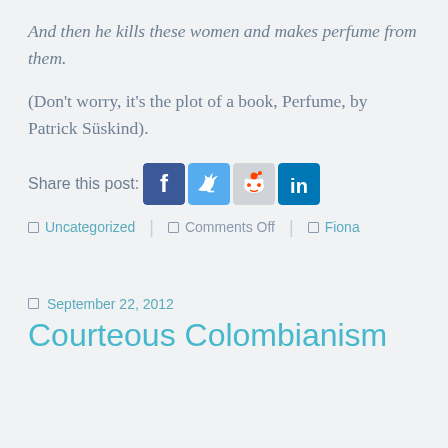And then he kills these women and makes perfume from them.
(Don't worry, it's the plot of a book, Perfume, by Patrick Süskind).
Share this post: [Facebook] [Twitter] [Reddit] [LinkedIn]
■ Uncategorized | ■ Comments Off | ■ Fiona
■ September 22, 2012
Courteous Colombianism